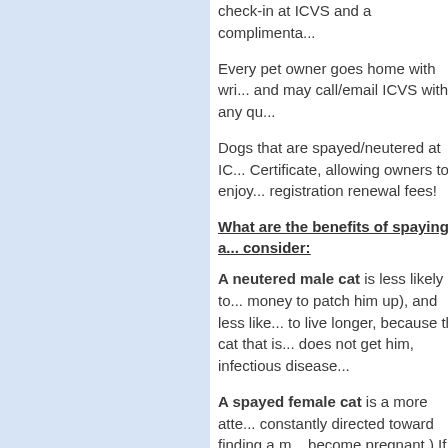check-in at ICVS and a complimenta...
Every pet owner goes home with wri... and may call/email ICVS with any qu...
Dogs that are spayed/neutered at IC... Certificate, allowing owners to enjoy... registration renewal fees!
What are the benefits of spaying a... consider:
A neutered male cat is less likely to... money to patch him up), and less like... to live longer, because the cat that is... does not get him, infectious disease...
A spayed female cat is a more atte... constantly directed toward finding a m... become pregnant.) If you spay your ... and from sexually transmitted infectio... heat will have a near zero chance of...
A neutered male dog retains his pla...